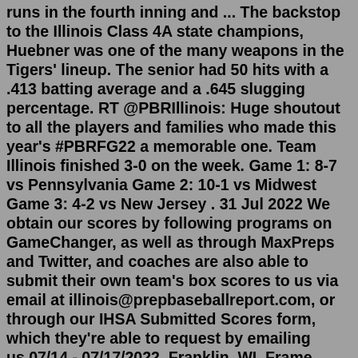runs in the fourth inning and ... The backstop to the Illinois Class 4A state champions, Huebner was one of the many weapons in the Tigers' lineup. The senior had 50 hits with a .413 batting average and a .645 slugging percentage. RT @PBRIllinois: Huge shoutout to all the players and families who made this year's #PBRFG22 a memorable one. Team Illinois finished 3-0 on the week. Game 1: 8-7 vs Pennsylvania Game 2: 10-1 vs Midwest Game 3: 4-2 vs New Jersey . 31 Jul 2022 We obtain our scores by following programs on GameChanger, as well as through MaxPreps and Twitter, and coaches are also able to submit their own team's box scores to us via email at illinois@prepbaseballreport.com, or through our IHSA Submitted Scores form, which they're able to request by emailing us.07/14 - 07/17/2022. Franklin, WI. Frame Park. Milwaukee Area Technical College. Neumann Family Field. The Rock Complex. 58 Teams Registered. - 4 Game Guarantee. - Metal Bats.The backstop to the Illinois Class 4A state champions, Huebner was one of the many weapons in the Tigers'